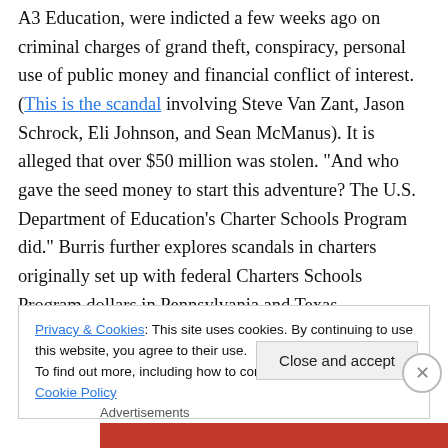A3 Education, were indicted a few weeks ago on criminal charges of grand theft, conspiracy, personal use of public money and financial conflict of interest. (This is the scandal involving Steve Van Zant, Jason Schrock, Eli Johnson, and Sean McManus). It is alleged that over $50 million was stolen. "And who gave the seed money to start this adventure? The U.S. Department of Education's Charter Schools Program did." Burris further explores scandals in charters originally set up with federal Charters Schools Program dollars in Pennsylvania and Texas.
Privacy & Cookies: This site uses cookies. By continuing to use this website, you agree to their use. To find out more, including how to control cookies, see here: Cookie Policy
Close and accept
Advertisements